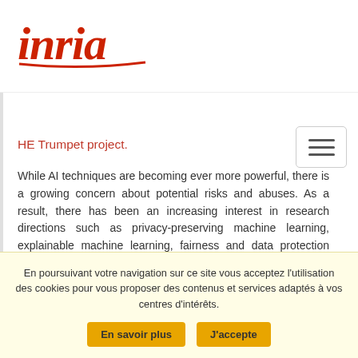[Figure (logo): Inria logo in red italic script with underline stroke]
[Figure (other): Hamburger menu icon button with three horizontal lines]
HE Trumpet project.
While AI techniques are becoming ever more powerful, there is a growing concern about potential risks and abuses. As a result, there has been an increasing interest in research directions such as privacy-preserving machine learning, explainable machine learning, fairness and data protection legislation.
Privacy-preserving machine learning aims at learning (and publishing or applying) a model from data while
En poursuivant votre navigation sur ce site vous acceptez l'utilisation des cookies pour vous proposer des contenus et services adaptés à vos centres d'intérêts.
En savoir plus
J'accepte